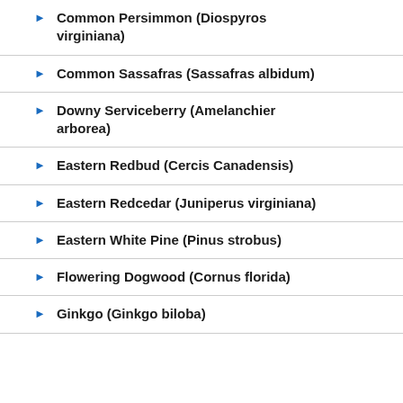Common Persimmon (Diospyros virginiana)
Common Sassafras (Sassafras albidum)
Downy Serviceberry (Amelanchier arborea)
Eastern Redbud (Cercis Canadensis)
Eastern Redcedar (Juniperus virginiana)
Eastern White Pine (Pinus strobus)
Flowering Dogwood (Cornus florida)
Ginkgo (Ginkgo biloba)